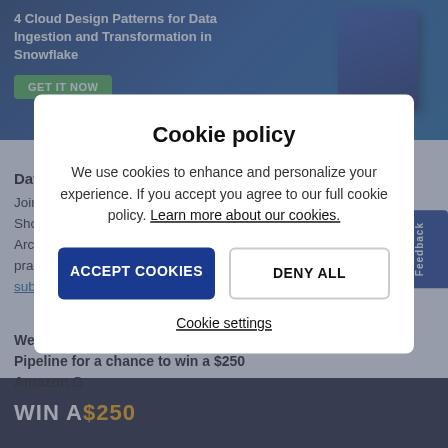[Figure (screenshot): Top banner with book cover: '4 Cloud Design Patterns for Data Ingestion and Transformation in Snowflake' with a GET IT NOW button on blue background]
DataOps Summit 2022 CFP
Join us for this year's DataOps Summit as a breakout speaker. Showcase your projects for Data Engineering, DataOps, and Data Architecture and join other data engineers in learning modern best practices for data integration. We will update the community when to submit your talk. Hope to see you there too!
We have exciting news! Share Your Pipeline for a chance to win a $250 Amazon G...
[Figure (screenshot): Cookie policy modal overlay with ACCEPT COOKIES and DENY ALL buttons, and Cookie settings link]
[Figure (screenshot): Bottom strip showing 'WIN A $250' in gold and white text on dark background]